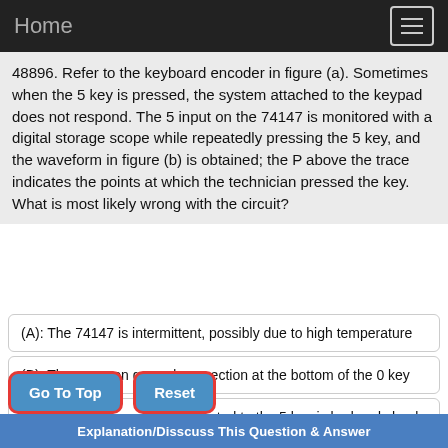Home
48896. Refer to the keyboard encoder in figure (a). Sometimes when the 5 key is pressed, the system attached to the keypad does not respond. The 5 input on the 74147 is monitored with a digital storage scope while repeatedly pressing the 5 key, and the waveform in figure (b) is obtained; the P above the trace indicates the points at which the technician pressed the key. What is most likely wrong with the circuit?
(A): The 74147 is intermittent, possibly due to high temperature
(B): The common ground connection at the bottom of the 0 key
(C): The pull-up resistor connected to the 5 key is bad and shoul
(D): The switches on the 5 key are intermittent; the contacts nee
Go To Top   Reset
Explanation/Disscuss This Question & Answer